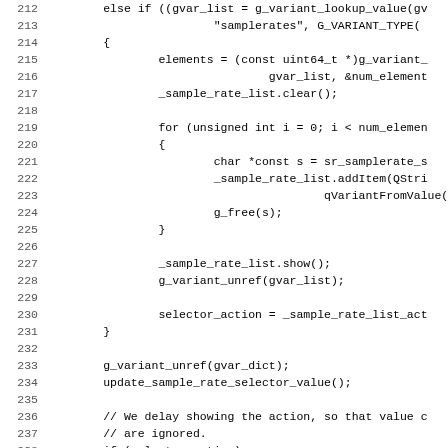[Figure (screenshot): Source code listing showing lines 212-243 of a C++ file. The code shows an else-if block that looks up 'samplerates' from a GVariant dictionary, iterates elements to populate a sample rate list, and a function definition for SamplingBar::update_sample_rate_selector_value().]